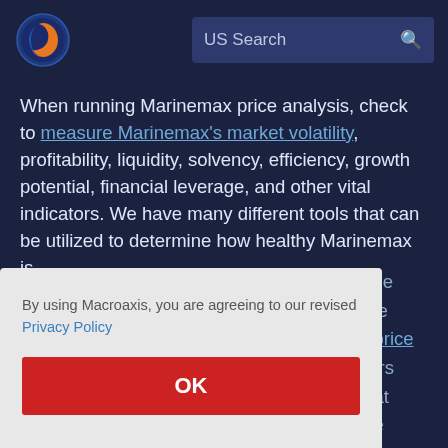[Figure (logo): Macroaxis logo: circular icon with orange and blue design]
US Search
When running Marinemax price analysis, check to measure Marinemax's market volatility, profitability, liquidity, solvency, efficiency, growth potential, financial leverage, and other vital indicators. We have many different tools that can be utilized to determine how healthy Marinemax is
alue
price
e price
eers
that
ate
By using Macroaxis, you are agreeing to our revised Privacy Policy
OK
decrease your overall portfolio volatility.